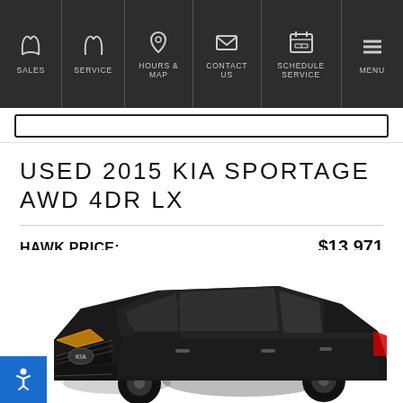SALES | SERVICE | HOURS & MAP | CONTACT US | SCHEDULE SERVICE | MENU
USED 2015 KIA SPORTAGE AWD 4DR LX
HAWK PRICE: $13,971
Sign in for your price
See Important Disclosures Here
[Figure (photo): Dark black/charcoal 2015 Kia Sportage SUV photographed from a front 3/4 angle against a white background]